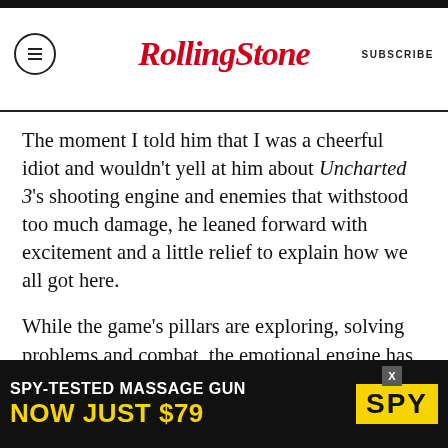Rolling Stone | SUBSCRIBE
The moment I told him that I was a cheerful idiot and wouldn’t yell at him about Uncharted 3’s shooting engine and enemies that withstood too much damage, he leaned forward with excitement and a little relief to explain how we all got here.
While the game’s pillars are exploring, solving problems and combat, the emotional engine has always been, as Scherr and Naughty Dog like to think of it, to “focus on the family, this group of rogues and scoundrels” bound together on exotic adventures. This time, Drake was dragged out of retirement by his brother for one last score, both
[Figure (other): Advertisement banner: SPY-TESTED MASSAGE GUN NOW JUST $79 with SPY logo in yellow on black background]